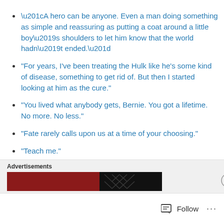“A hero can be anyone. Even a man doing something as simple and reassuring as putting a coat around a little boy’s shoulders to let him know that the world hadn’t ended.”
“For years, I’ve been treating the Hulk like he’s some kind of disease, something to get rid of. But then I started looking at him as the cure.”
“You lived what anybody gets, Bernie. You got a lifetime. No more. No less.”
“Fate rarely calls upon us at a time of your choosing.”
“Teach me.”
Advertisements